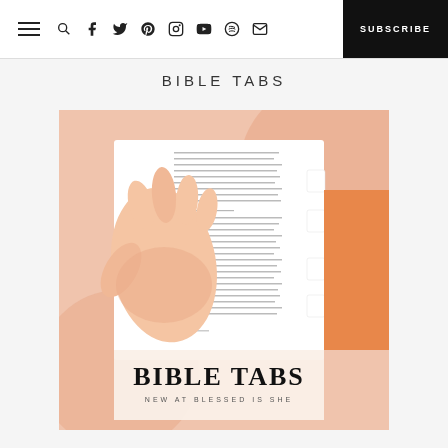Navigation bar with hamburger menu, search, social icons (Facebook, Twitter, Pinterest, Instagram, YouTube, Spotify, Email), and SUBSCRIBE button
BIBLE TABS
[Figure (photo): Photo of an open Bible with white tabbed dividers, a hand holding the Bible open, text visible on the pages including Mary's Song of Praise (Luke 1), with an orange/peach decorative background. Overlaid text reads 'BIBLE TABS' in large serif font and 'NEW AT BLESSED IS SHE' beneath it.]